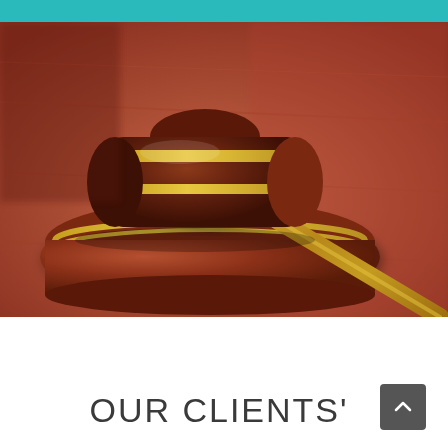[Figure (photo): Close-up photograph of a wooden judge's gavel resting on a sound block on a wooden surface, with brass/gold accents on the gavel handle and block rings.]
OUR CLIENTS'